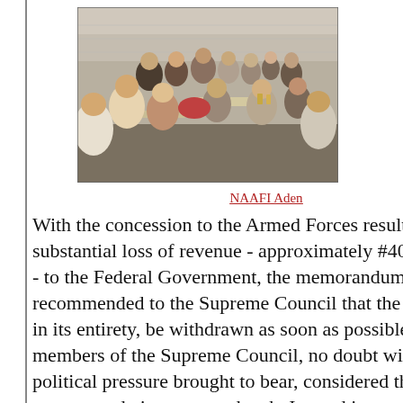[Figure (photo): Black and white photograph of a group of soldiers/servicemen sitting around tables outdoors, eating and drinking, at NAAFI Aden.]
NAAFI Aden
With the concession to the Armed Forces resultjng in a substantial loss of revenue - approximately #40,000 a year - to the Federal Government, the memorandum recommended to the Supreme Council that the concession, in its entirety, be withdrawn as soon as possible. The members of the Supreme Council, no doubt with much political pressure brought to bear, considered that the recommendation was too harsh. Instead it was decided that the